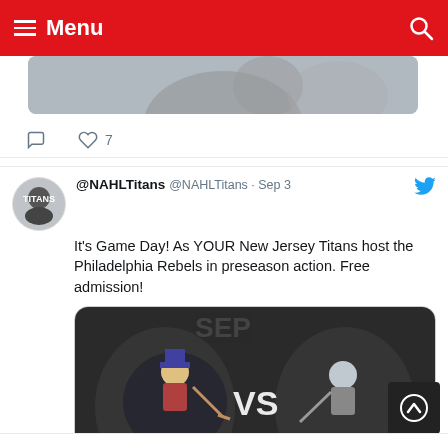Menu
[Figure (screenshot): Partial view of a hockey player image at the top of the page, cropped]
7 likes
@NAHLTitans @NAHLTitans · Sep 3
It's Game Day! As YOUR New Jersey Titans host the Philadelphia Rebels in preseason action. Free admission!
[Figure (illustration): Promotional game day image showing Philadelphia Rebels vs Titans hockey logos with text 'Free Admission' and 'WATCH ON HockeyTV']
26 likes